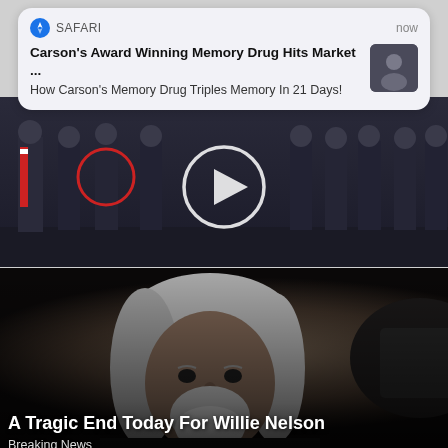[Figure (screenshot): Safari browser push notification card showing 'Carson's Award Winning Memory Drug Hits Market ...' headline and subtext 'How Carson's Memory Drug Triples Memory In 21 Days!' with a thumbnail photo of a person]
[Figure (screenshot): Background image showing a group of people/politicians standing in a row, with a video play button overlay circle in the center]
[Figure (photo): Photo of Willie Nelson, an elderly man with long white/grey hair and beard, looking directly at camera. Overlaid text reads 'A Tragic End Today For Willie Nelson' and 'Breaking News']
A Tragic End Today For Willie Nelson
Breaking News
[Figure (illustration): Medical advertisement showing illustration of human legs with red highlighted pain areas (knee, hip). Partial text visible: 'n Chronic Pain? Here's Need To'. Labeled 'Promoted X' at top.]